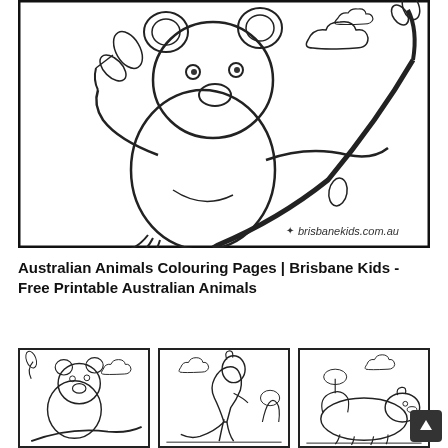[Figure (illustration): Black and white koala coloring page showing a koala sitting on a eucalyptus branch holding leaves, with clouds in background. Watermark reads brisbanekids.com.au]
Australian Animals Colouring Pages | Brisbane Kids - Free Printable Australian Animals
[Figure (illustration): Thumbnail coloring page of a koala]
[Figure (illustration): Thumbnail coloring page of a kangaroo]
[Figure (illustration): Thumbnail coloring page of a wombat or similar Australian animal]